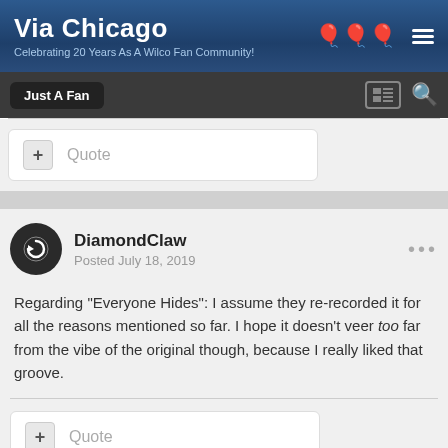Via Chicago — Celebrating 20 Years As A Wilco Fan Community!
Just A Fan
+ Quote
DiamondClaw
Posted July 18, 2019
Regarding "Everyone Hides": I assume they re-recorded it for all the reasons mentioned so far. I hope it doesn't veer too far from the vibe of the original though, because I really liked that groove.
+ Quote